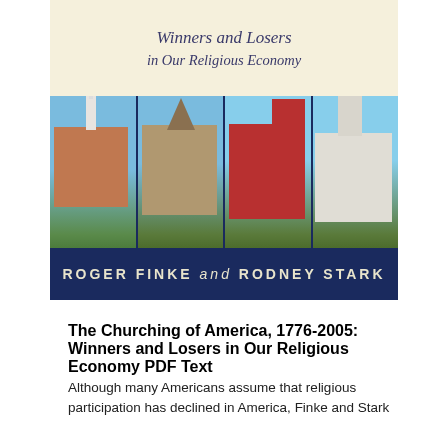[Figure (photo): Book cover of 'The Churching of America, 1776-2005: Winners and Losers in Our Religious Economy' by Roger Finke and Rodney Stark. Dark navy blue cover with a cream title box at top showing italic title text, four photographs of different church buildings in a row across the middle, and author names in gold lettering at the bottom.]
The Churching of America, 1776-2005: Winners and Losers in Our Religious Economy PDF Text
Although many Americans assume that religious participation has declined in America, Finke and Stark